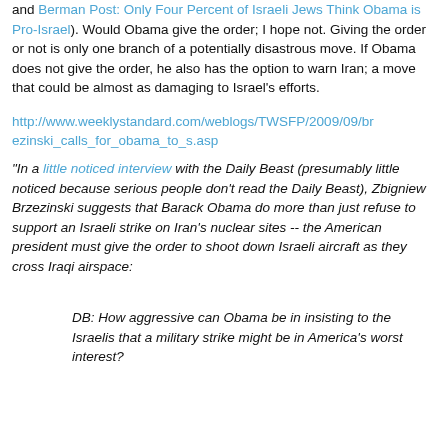and Berman Post: Only Four Percent of Israeli Jews Think Obama is Pro-Israel). Would Obama give the order; I hope not. Giving the order or not is only one branch of a potentially disastrous move. If Obama does not give the order, he also has the option to warn Iran; a move that could be almost as damaging to Israel's efforts.
http://www.weeklystandard.com/weblogs/TWSFP/2009/09/brezinski_calls_for_obama_to_s.asp
"In a little noticed interview with the Daily Beast (presumably little noticed because serious people don't read the Daily Beast), Zbigniew Brzezinski suggests that Barack Obama do more than just refuse to support an Israeli strike on Iran's nuclear sites -- the American president must give the order to shoot down Israeli aircraft as they cross Iraqi airspace:
DB: How aggressive can Obama be in insisting to the Israelis that a military strike might be in America's worst interest?